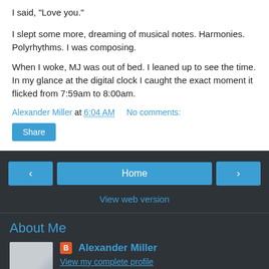I said, "Love you."
I slept some more, dreaming of musical notes. Harmonies. Polyrhythms. I was composing.
When I woke, MJ was out of bed. I leaned up to see the time. In my glance at the digital clock I caught the exact moment it flicked from 7:59am to 8:00am.
Alexander Miller at 6:04 AM   No comments:
Share
Home
View web version
About Me
Alexander Miller
View my complete profile